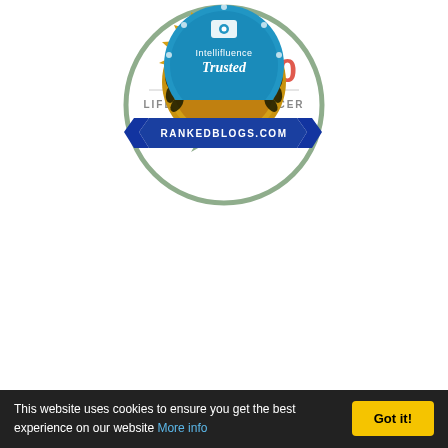[Figure (logo): TOTS100 Lifestyle Influencer badge — circular green-outlined badge with 'TOTS100' in large green/red text, 'LIFESTYLE INFLUENCER' below in grey, and chat bubble icons underneath.]
[Figure (logo): RankedBlogs.com gold seal badge — gold sunburst/gear shape with 'TOP RANK' at top, 'CRAFT BLOG' in large text center, and blue ribbon banner reading 'RANKEDBLOGS.COM' below.]
[Figure (logo): Intellifluence Trusted badge — blue circle partially visible with 'Intellifluence' text and 'Trusted' in script, surrounded by dots.]
This website uses cookies to ensure you get the best experience on our website More info